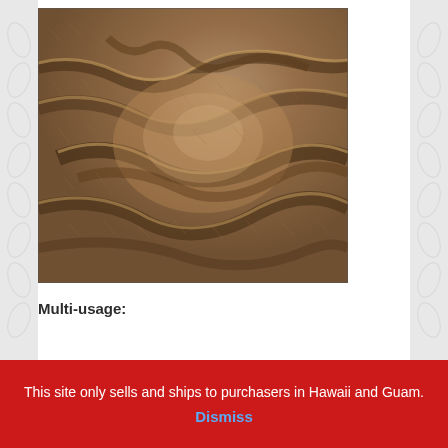[Figure (photo): Close-up photo of a soft, fluffy brown fleece/plush blanket with fabric folds and texture visible]
Multi-usage:
This site only sells and ships to purchasers in Hawaii and Guam.
Dismiss